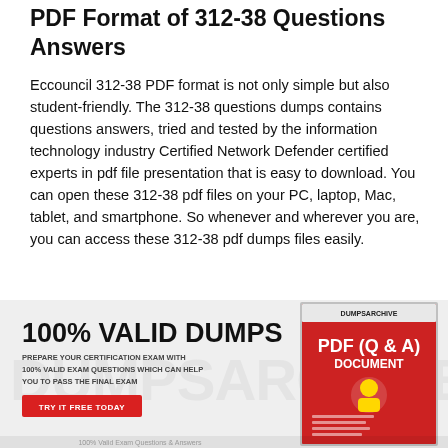PDF Format of 312-38 Questions Answers
Eccouncil 312-38 PDF format is not only simple but also student-friendly. The 312-38 questions dumps contains questions answers, tried and tested by the information technology industry Certified Network Defender certified experts in pdf file presentation that is easy to download. You can open these 312-38 pdf files on your PC, laptop, Mac, tablet, and smartphone. So whenever and wherever you are, you can access these 312-38 pdf dumps files easily.
[Figure (infographic): Promotional banner showing '100% VALID DUMPS' headline with subtext about preparing certification exam with valid exam questions, a red 'TRY IT FREE TODAY' button, DumpsArchive watermark, and a book cover image showing PDF (Q & A) Document]